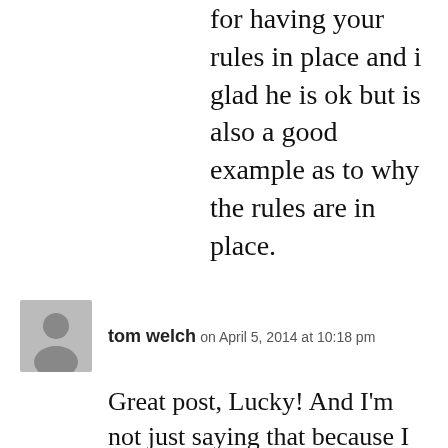for having your rules in place and i glad he is ok but is also a good example as to why the rules are in place.
tom welch on April 5, 2014 at 10:18 pm
Great post, Lucky! And I’m not just saying that because I want to beat Audrey for “most blog comments”. really.